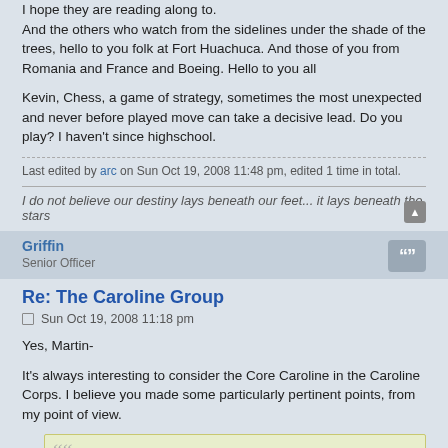I hope they are reading along to. And the others who watch from the sidelines under the shade of the trees, hello to you folk at Fort Huachuca. And those of you from Romania and France and Boeing. Hello to you all
Kevin, Chess, a game of strategy, sometimes the most unexpected and never before played move can take a decisive lead. Do you play? I haven't since highschool.
Last edited by arc on Sun Oct 19, 2008 11:48 pm, edited 1 time in total.
I do not believe our destiny lays beneath our feet... it lays beneath the stars
Griffin
Senior Officer
Re: The Caroline Group
Sun Oct 19, 2008 11:18 pm
Yes, Martin-
It's always interesting to consider the Core Caroline in the Caroline Corps. I believe you made some particularly pertinent points, from my point of view.
[Figure (other): Quoted block with large quotation mark icon]